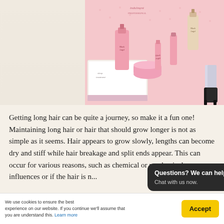[Figure (photo): Pink hair care product set with bottles, jars, and tubes arranged on a white surface with pink dotted background, alongside a figure wearing high heels]
Getting long hair can be quite a journey, so make it a fun one! Maintaining long hair or hair that should grow longer is not as simple as it seems. Hair appears to grow slowly, lengths can become dry and stiff while hair breakage and split ends appear. This can occur for various reasons, such as chemical or mechanical influences or if the hair is n...
Questions? We can help. Chat with us now.
We use cookies to ensure the best experience on our website. If you continue we'll assume that you are understand this. Learn more